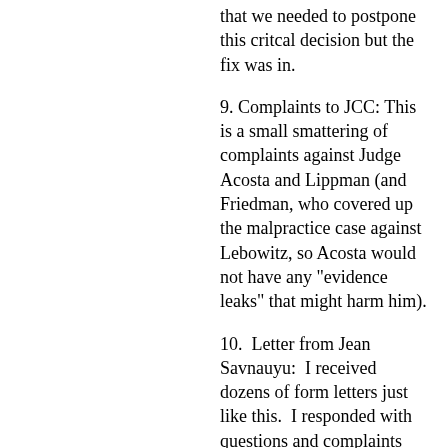that we needed to postpone this critcal decision but the fix was in.
9. Complaints to JCC: This is a small smattering of complaints against Judge Acosta and Lippman (and Friedman, who covered up the malpractice case against Lebowitz, so Acosta would not have any "evidence leaks" that might harm him).
10.  Letter from Jean Savnauyu:  I received dozens of form letters just like this.  I responded with questions and complaints about their "investigative" process.  But they were met with